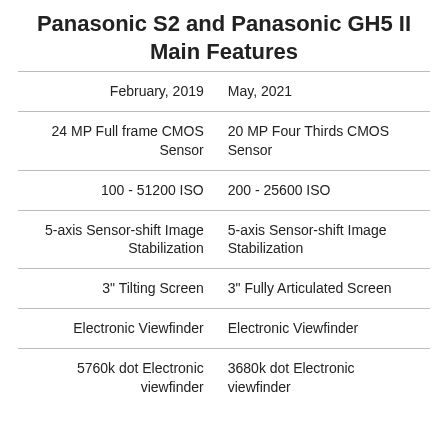Panasonic S2 and Panasonic GH5 II Main Features
| Panasonic S2 | Panasonic GH5 II |
| --- | --- |
| February, 2019 | May, 2021 |
| 24 MP Full frame CMOS Sensor | 20 MP Four Thirds CMOS Sensor |
| 100 - 51200 ISO | 200 - 25600 ISO |
| 5-axis Sensor-shift Image Stabilization | 5-axis Sensor-shift Image Stabilization |
| 3" Tilting Screen | 3" Fully Articulated Screen |
| Electronic Viewfinder | Electronic Viewfinder |
| 5760k dot Electronic viewfinder | 3680k dot Electronic viewfinder |